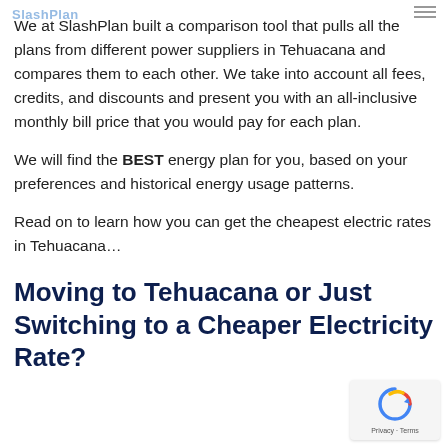SlashPlan
We at SlashPlan built a comparison tool that pulls all the plans from different power suppliers in Tehuacana and compares them to each other. We take into account all fees, credits, and discounts and present you with an all-inclusive monthly bill price that you would pay for each plan.
We will find the BEST energy plan for you, based on your preferences and historical energy usage patterns.
Read on to learn how you can get the cheapest electric rates in Tehuacana…
Moving to Tehuacana or Just Switching to a Cheaper Electricity Rate?